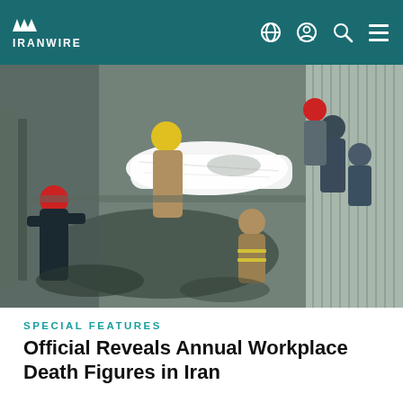IRANWIRE
[Figure (photo): Aerial view of rescue workers and firefighters in helmets surrounding a body covered with a white sheet at a construction/industrial accident scene in Iran]
SPECIAL FEATURES
Official Reveals Annual Workplace Death Figures in Iran
[Figure (photo): Night-time photo of a dark scene with orange fire/flames visible near the bottom, appearing to show an industrial fire or explosion in Iran]